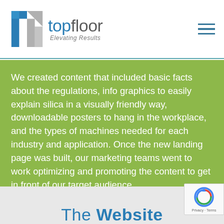[Figure (logo): TopFloor logo with blue/gray geometric T icon and text 'topfloor Elevating Results']
We created content that included basic facts about the regulations, info graphics to easily explain silica in a visually friendly way, downloadable posters to hang in the workplace, and the types of machines needed for each industry and application. Once the new landing page was built, our marketing teams went to work optimizing and promoting the content to get in front of our target audience.
[Figure (other): reCAPTCHA badge with Privacy and Terms links]
The Website